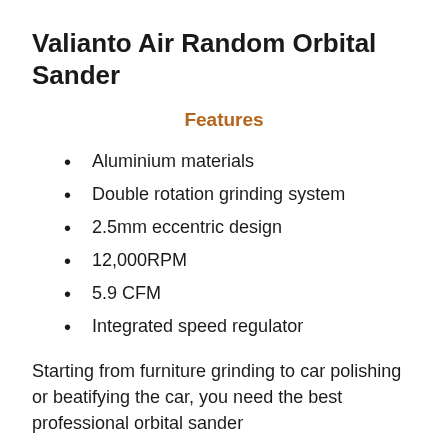Valianto Air Random Orbital Sander
Features
Aluminium materials
Double rotation grinding system
2.5mm eccentric design
12,000RPM
5.9 CFM
Integrated speed regulator
Starting from furniture grinding to car polishing or beatifying the car, you need the best professional orbital sander